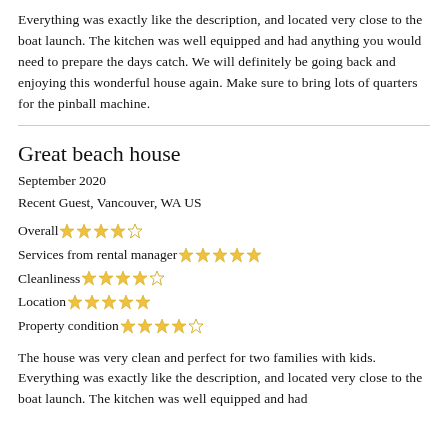Everything was exactly like the description, and located very close to the boat launch. The kitchen was well equipped and had anything you would need to prepare the days catch. We will definitely be going back and enjoying this wonderful house again. Make sure to bring lots of quarters for the pinball machine.
Great beach house
September 2020
Recent Guest, Vancouver, WA US
Overall ★★★★☆
Services from rental manager ★★★★★
Cleanliness ★★★★☆
Location ★★★★★
Property condition ★★★★☆
The house was very clean and perfect for two families with kids. Everything was exactly like the description, and located very close to the boat launch. The kitchen was well equipped and had